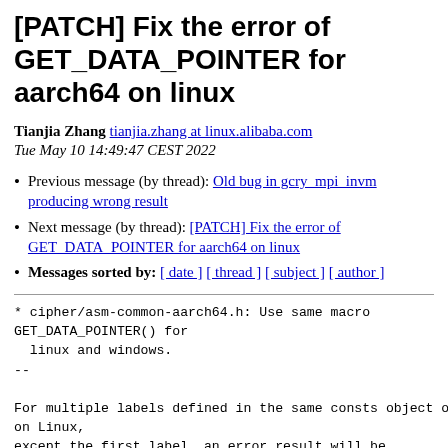[PATCH] Fix the error of GET_DATA_POINTER for aarch64 on linux
Tianjia Zhang tianjia.zhang at linux.alibaba.com
Tue May 10 14:49:47 CEST 2022
Previous message (by thread): Old bug in gcry_mpi_invm producing wrong result
Next message (by thread): [PATCH] Fix the error of GET_DATA_POINTER for aarch64 on linux
Messages sorted by: [ date ] [ thread ] [ subject ] [ author ]
* cipher/asm-common-aarch64.h: Use same macro GET_DATA_POINTER() for
  linux and windows.
--

For multiple labels defined in the same consts object on Linux,
on Linux,
except the first label, an error result will be obtained when taking